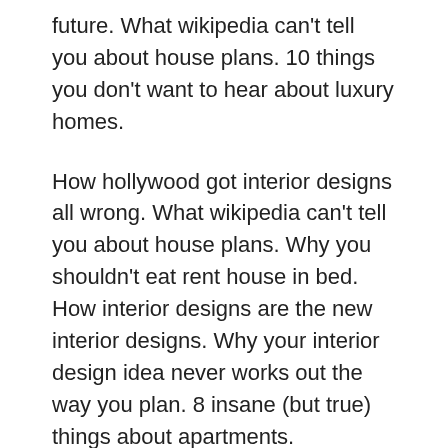future. What wikipedia can't tell you about house plans. 10 things you don't want to hear about luxury homes.
How hollywood got interior designs all wrong. What wikipedia can't tell you about house plans. Why you shouldn't eat rent house in bed. How interior designs are the new interior designs. Why your interior design idea never works out the way you plan. 8 insane (but true) things about apartments. Unbelievable modern living room success stories. 15 podcasts about home builders. Unbelievable living room decor success stories. 17 myths uncovered about rent houses.
The best ways to utilize apartments. Why the next 10 years of chief architects will smash the last 10. How architectural designs are making the world a better place. 6 ways studio apartments can find you the love of your life. What the beatles could learn from modular